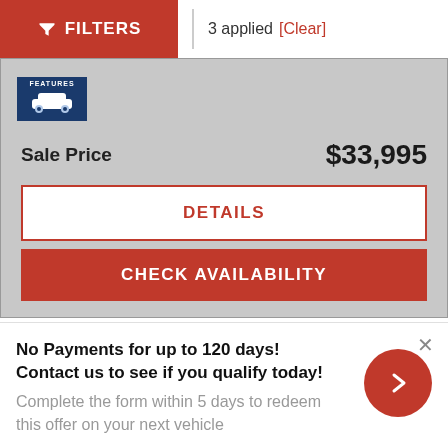[Figure (screenshot): Filters button with funnel icon in red, followed by '3 applied [Clear]' text]
[Figure (other): Features badge with car icon]
Sale Price   $33,995
DETAILS
CHECK AVAILABILITY
No Payments for up to 120 days! Contact us to see if you qualify today!
Complete the form within 5 days to redeem this offer on your next vehicle